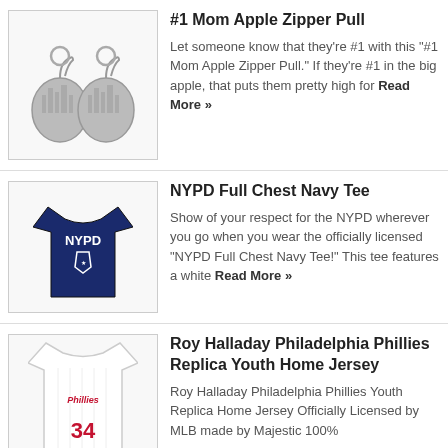[Figure (photo): Silver apple zipper pull keychains]
#1 Mom Apple Zipper Pull
Let someone know that they’re #1 with this “#1 Mom Apple Zipper Pull.” If they’re #1 in the big apple, that puts them pretty high for Read More »
[Figure (photo): Navy blue NYPD full chest t-shirt]
NYPD Full Chest Navy Tee
Show of your respect for the NYPD wherever you go when you wear the officially licensed “NYPD Full Chest Navy Tee!” This tee features a white Read More »
[Figure (photo): Roy Halladay Philadelphia Phillies youth home jersey number 34]
Roy Halladay Philadelphia Phillies Replica Youth Home Jersey
Roy Halladay Philadelphia Phillies Youth Replica Home Jersey Officially Licensed by MLB made by Majestic 100% Polyester Cool Base Button-Down Jersey Youth Sizes 8-20, Team Specific Read More »
[Figure (photo): SF Giants personalized gift basket]
SF Giants Personalized 6-Piece Gift Basket
The SF Giants Personalized 6-Piece Basket is a one of a